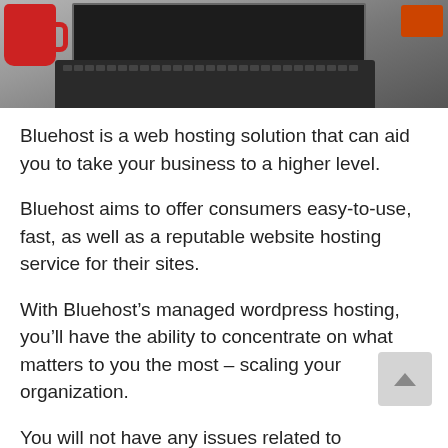[Figure (photo): Photograph of a laptop computer with a keyboard visible, a red coffee cup on the left, and orange/red items on the right side. Taken from above at an angle.]
Bluehost is a web hosting solution that can aid you to take your business to a higher level.
Bluehost aims to offer consumers easy-to-use, fast, as well as a reputable website hosting service for their sites.
With Bluehost’s managed wordpress hosting, you’ll have the ability to concentrate on what matters to you the most – scaling your organization.
You will not have any issues related to running an internet site: absence of web